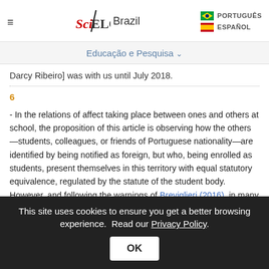SciELO Brazil | PORTUGUÊS | ESPAÑOL
Educação e Pesquisa
Darcy Ribeiro] was with us until July 2018.
6
- In the relations of affect taking place between ones and others at school, the proposition of this article is observing how the others—students, colleagues, or friends of Portuguese nationality—are identified by being notified as foreign, but who, being enrolled as students, present themselves in this territory with equal statutory equivalence, regulated by the statute of the student body. However, and following the warnings of Breviglieri (2016), in many occurrences faced by the being from outside who captures the being from inside—
This site uses cookies to ensure you get a better browsing experience. Read our Privacy Policy.